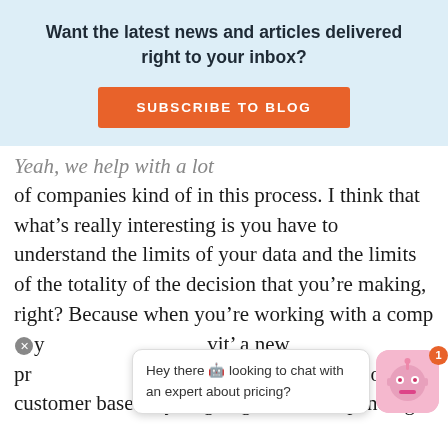Want the latest news and articles delivered right to your inbox?
[Figure (other): Orange SUBSCRIBE TO BLOG button]
Yeah, we help with a lot of companies kind of in this process. I think that what's really interesting is you have to understand the limits of your data and the limits of the totality of the decision that you're making, right? Because when you're working with a company with a new pricing strategy depending on how different of a customer base they're going after, or depending on like a
[Figure (other): Chat widget overlay with robot icon, notification badge showing 1, close button, and speech bubble saying Hey there looking to chat with an expert about pricing?]